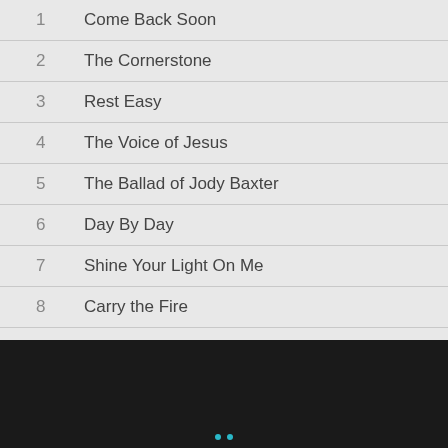1  Come Back Soon
2  The Cornerstone
3  Rest Easy
4  The Voice of Jesus
5  The Ballad of Jody Baxter
6  Day By Day
7  Shine Your Light On Me
8  Carry the Fire
9  You'll Find Your Way
10  Don't You Want to Thank Someone